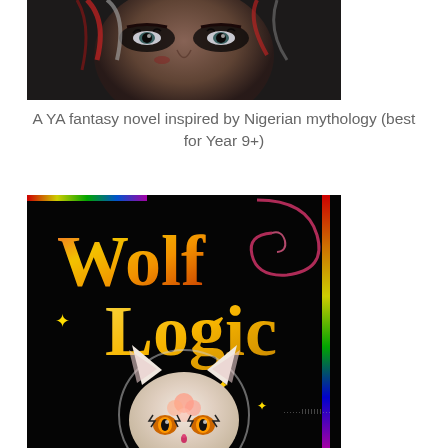[Figure (photo): Close-up of a person's face with dramatic dark makeup, red and white streaked hair, and intense eyes against a dark background — book cover image]
A YA fantasy novel inspired by Nigerian mythology (best for Year 9+)
[Figure (illustration): Book cover of 'Wolf Logic' featuring a stylized white fox/cat creature with ornate markings and golden eyes on a black background, with colourful text reading 'Wolf Logic' in gold and multicoloured letters, stars and swirl decorations]